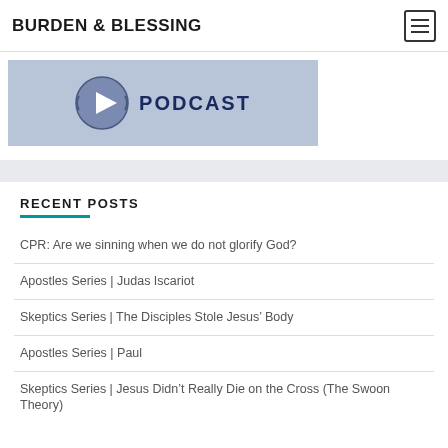BURDEN & BLESSING
[Figure (screenshot): Podcast banner image showing a circular play button icon and the word PODCAST in bold dark blue text on a light blue/lavender background]
RECENT POSTS
CPR: Are we sinning when we do not glorify God?
Apostles Series | Judas Iscariot
Skeptics Series | The Disciples Stole Jesus’ Body
Apostles Series | Paul
Skeptics Series | Jesus Didn’t Really Die on the Cross (The Swoon Theory)